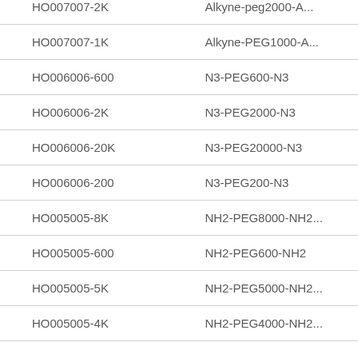| Product Code | Product Name |
| --- | --- |
| HO007007-2K | Alkyne-peg2000-A... |
| HO007007-1K | Alkyne-PEG1000-A... |
| HO006006-600 | N3-PEG600-N3 |
| HO006006-2K | N3-PEG2000-N3 |
| HO006006-20K | N3-PEG20000-N3 |
| HO006006-200 | N3-PEG200-N3 |
| HO005005-8K | NH2-PEG8000-NH2... |
| HO005005-600 | NH2-PEG600-NH2 |
| HO005005-5K | NH2-PEG5000-NH2... |
| HO005005-4K | NH2-PEG4000-NH2... |